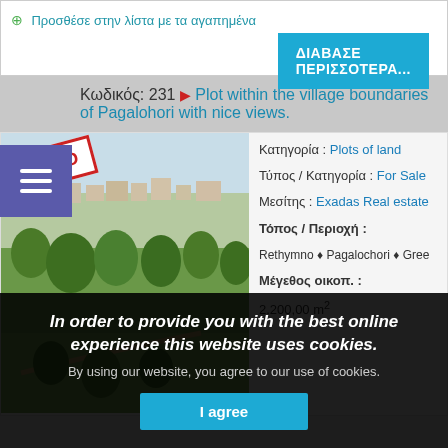⊕ Προσθέσε στην λίστα με τα αγαπημένα
ΔΙΑΒΑΣΕ ΠΕΡΙΣΣΟΤΕΡΑ...
Κωδικός: 231 ▶ Plot within the village boundaries of Pagalohori with nice views.
[Figure (photo): Landscape photo of Pagalohori village with SOLD stamp overlay]
Κατηγορία : Plots of land
Τύπος / Κατηγορία : For Sale
Μεσίτης : Exadas Real estate
Τόπος / Περιοχή :
Rethymno ♦ Pagalochori ♦ Greece
Μέγεθος οικοπ. :
2.200,00 m²
In order to provide you with the best online experience this website uses cookies.
By using our website, you agree to our use of cookies.
I agree